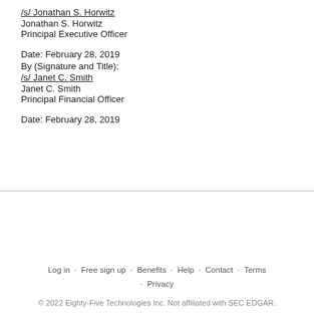/s/ Jonathan S. Horwitz
Jonathan S. Horwitz
Principal Executive Officer
Date: February 28, 2019
By (Signature and Title):
/s/ Janet C. Smith
Janet C. Smith
Principal Financial Officer
Date: February 28, 2019
Log in · Free sign up · Benefits · Help · Contact · Terms · Privacy
© 2022 Eighty-Five Technologies Inc. Not affiliated with SEC EDGAR.